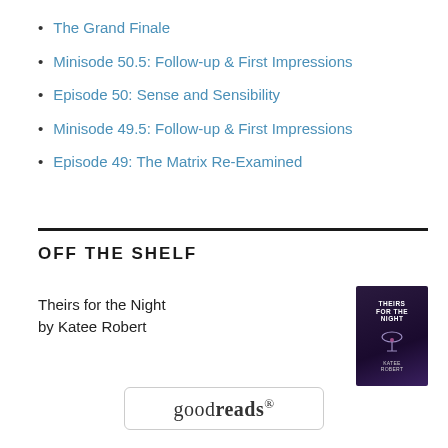The Grand Finale
Minisode 50.5: Follow-up & First Impressions
Episode 50: Sense and Sensibility
Minisode 49.5: Follow-up & First Impressions
Episode 49: The Matrix Re-Examined
OFF THE SHELF
Theirs for the Night
by Katee Robert
[Figure (illustration): Book cover for 'Theirs for the Night' by Katee Robert — dark purple/blue background with title text and martini glass graphic]
[Figure (logo): Goodreads logo in a rounded rectangle box — 'good' in normal weight and 'reads' in bold, followed by a registered trademark symbol]